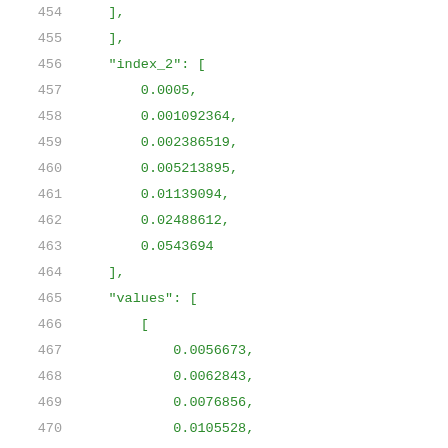454 (partial line, closing bracket area)
455     ],
456     "index_2": [
457         0.0005,
458         0.001092364,
459         0.002386519,
460         0.005213895,
461         0.01139094,
462         0.02488612,
463         0.0543694
464     ],
465     "values": [
466         [
467             0.0056673,
468             0.0062843,
469             0.0076856,
470             0.0105528,
471             0.0169968,
472             0.0309768,
473             0.0613147
474         ],
475         [